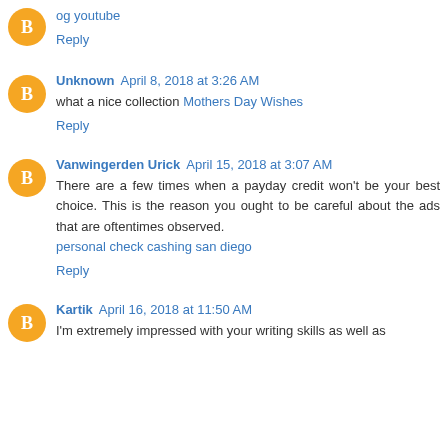og youtube
Reply
Unknown April 8, 2018 at 3:26 AM
what a nice collection Mothers Day Wishes
Reply
Vanwingerden Urick April 15, 2018 at 3:07 AM
There are a few times when a payday credit won't be your best choice. This is the reason you ought to be careful about the ads that are oftentimes observed. personal check cashing san diego
Reply
Kartik April 16, 2018 at 11:50 AM
I'm extremely impressed with your writing skills as well as